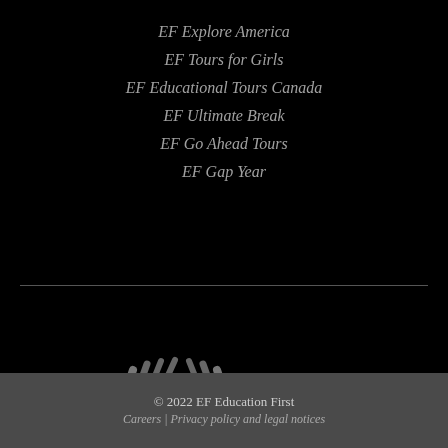EF Explore America
EF Tours for Girls
EF Educational Tours Canada
EF Ultimate Break
EF Go Ahead Tours
EF Gap Year
[Figure (logo): EF Education First logo in gray on black background, circular globe-like mark with 'Education First' text below]
© 2022 EF Education First
Careers | Privacy policy and legal notices